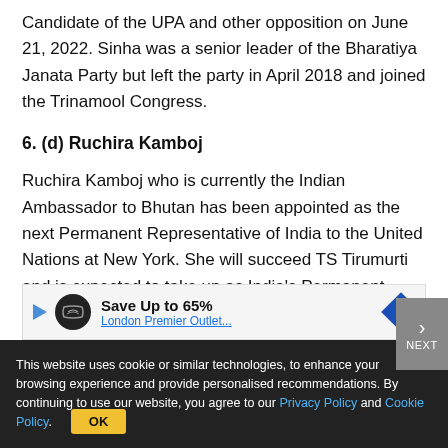Candidate of the UPA and other opposition on June 21, 2022. Sinha was a senior leader of the Bharatiya Janata Party but left the party in April 2018 and joined the Trinamool Congress.
6. (d) Ruchira Kamboj
Ruchira Kamboj who is currently the Indian Ambassador to Bhutan has been appointed as the next Permanent Representative of India to the United Nations at New York. She will succeed TS Tirumurti and is expected to take up as India's Permanent Representative to UN shortly. Ruchira Kamboj was the All India Women's topper of the 1987 Civil Services
[Figure (other): Advertisement banner: Save Up to 65% with logo icons and a blue diamond arrow]
This website uses cookie or similar technologies, to enhance your browsing experience and provide personalised recommendations. By continuing to use our website, you agree to our Privacy Policy and Cookie Policy. OK